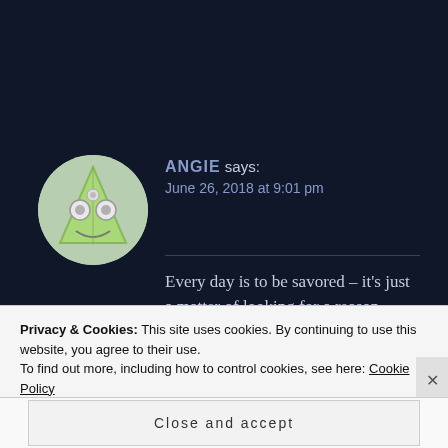[Figure (illustration): Circular avatar image of a cartoon green triangular character with eyes and a smile on a light green/gray background]
ANGIE says:
June 26, 2018 at 9:01 pm
Every day is to be savored – it's just a matter of looking for a reason, which may seem small and insignificant until you find it!!! Loved your comment about people preferring to walk in the sun or the
Privacy & Cookies: This site uses cookies. By continuing to use this website, you agree to their use.
To find out more, including how to control cookies, see here: Cookie Policy
Close and accept